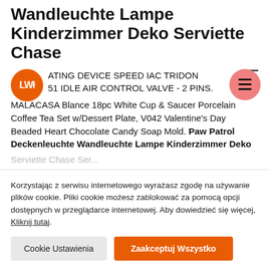Wandleuchte Lampe Kinderzimmer Deko Serviette Chase
ATING DEVICE SPEED IAC TRIDON 51 IDLE AIR CONTROL VALVE - 2 PINS. MALACASA Blance 18pc White Cup & Saucer Porcelain Coffee Tea Set w/Dessert Plate, V042 Valentine's Day Beaded Heart Chocolate Candy Soap Mold. Paw Patrol Deckenleuchte Wandleuchte Lampe Kinderzimmer Deko
Korzystając z serwisu internetowego wyrażasz zgodę na używanie plików cookie. Pliki cookie możesz zablokować za pomocą opcji dostępnych w przeglądarce internetowej. Aby dowiedzieć się więcej, Kliknij tutaj.
Cookie Ustawienia
Zaakceptuj Wszystko